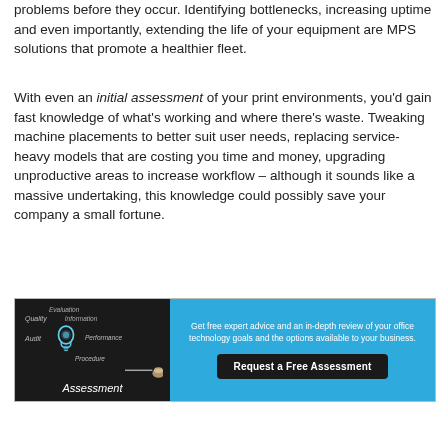problems before they occur. Identifying bottlenecks, increasing uptime and even importantly, extending the life of your equipment are MPS solutions that promote a healthier fleet.
With even an initial assessment of your print environments, you'd gain fast knowledge of what's working and where there's waste. Tweaking machine placements to better suit user needs, replacing service-heavy models that are costing you time and money, upgrading unproductive areas to increase workflow – although it sounds like a massive undertaking, this knowledge could possibly save your company a small fortune.
[Figure (infographic): Banner ad with two panels. Left panel: dark chalkboard background with a glowing lightbulb illustration and words including Evaluation, Information, Quality, Procedure, Audit, Performance arranged around the bulb, with the word 'Assessment' in italic white text at the bottom. Right panel: blue background with text 'Get free expert advice and an in-depth review of your office technology goals and the options available to your business.' and a black button reading 'Request a Free Assessment'.]